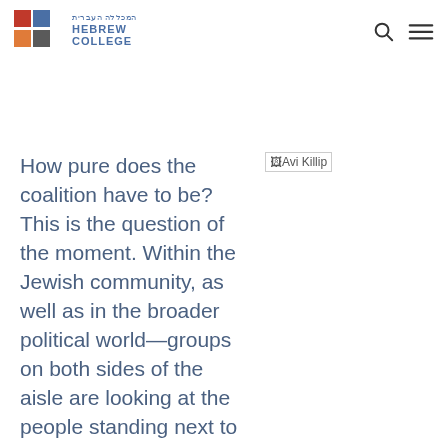Hebrew College
How pure does the coalition have to be? This is the question of the moment. Within the Jewish community, as well as in the broader political world—groups on both sides of the aisle are looking at the people standing next to them, working with them for a
[Figure (photo): Broken image placeholder labeled 'Avi Killip']